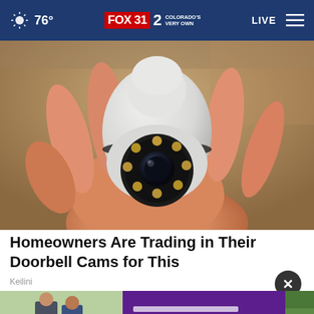76° FOX 31 2 COLORADO'S VERY OWN LIVE
[Figure (photo): A hand holding a white dome-shaped security camera (bulb-form-factor) with LED ring and lens visible, on a wooden background]
Homeowners Are Trading in Their Doorbell Cams for This
Keilini
[Figure (photo): Advertisement banner showing two men in outdoor setting on left half, and purple/violet background with text on right half]